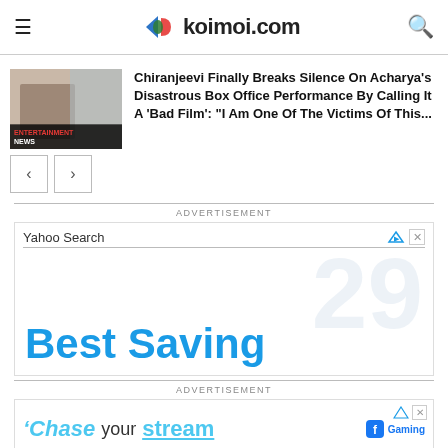koimoi.com
[Figure (screenshot): News thumbnail with man and 'ENTERTAINMENT NEWS' label]
Chiranjeevi Finally Breaks Silence On Acharya's Disastrous Box Office Performance By Calling It A 'Bad Film': “I Am One Of The Victims Of This...
[Figure (other): Advertisement: Yahoo Search - Best Saving]
[Figure (other): Advertisement: Chase your stream - Facebook Gaming]